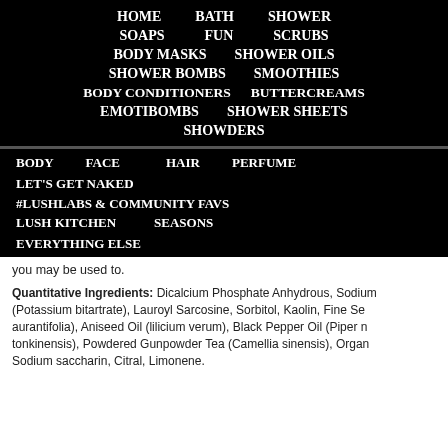HOME   BATH   SHOWER   SOAPS   FUN   SCRUBS   BODY MASKS   SHOWER OILS   SHOWER BOMBS   SMOOTHIES   BODY CONDITIONERS   BUTTERCREAMS   EMOTIBOMBS   SHOWER SHEETS   SHOWDERS
BODY   FACE   HAIR   PERFUME   LET'S GET NAKED   #LUSHLABS & COMMUNITY FAVS   LUSH KITCHEN   SEASONS   EVERYTHING ELSE
you may be used to.
Quantitative Ingredients: Dicalcium Phosphate Anhydrous, Sodium (Potassium bitartrate), Lauroyl Sarcosine, Sorbitol, Kaolin, Fine Se aurantifolia), Aniseed Oil (lilicium verum), Black Pepper Oil (Piper n tonkinensis), Powdered Gunpowder Tea (Camellia sinensis), Organ Sodium saccharin, Citral, Limonene.